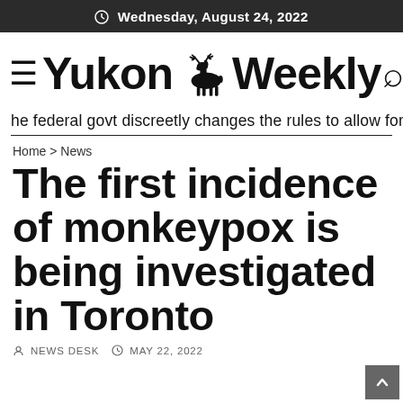Wednesday, August 24, 2022
≡Yukon Weekly🔍
he federal govt discreetly changes the rules to allow for a one-time
Home > News
The first incidence of monkeypox is being investigated in Toronto
NEWS DESK   MAY 22, 2022